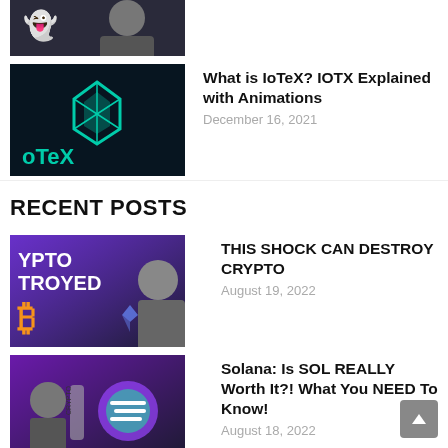[Figure (screenshot): Partial thumbnail of a video, cropped at top showing a ghost icon and person]
[Figure (screenshot): IoTeX (oTeX) thumbnail with teal logo on dark background]
What is IoTeX? IOTX Explained with Animations
December 16, 2021
RECENT POSTS
[Figure (screenshot): Crypto Troyed thumbnail showing bitcoin and crypto text on purple background]
THIS SHOCK CAN DESTROY CRYPTO
August 19, 2022
[Figure (screenshot): Solana thumbnail with purple background and Solana logo]
Solana: Is SOL REALLY Worth It?! What You NEED To Know!
August 18, 2022
[Figure (screenshot): MACD Trading Strategy thumbnail with dark background and CD TRADING RATEGY text]
Best MACD Trading Strategy for Cryptocurrency (Step-by-Step Guide)
August 18, 2022